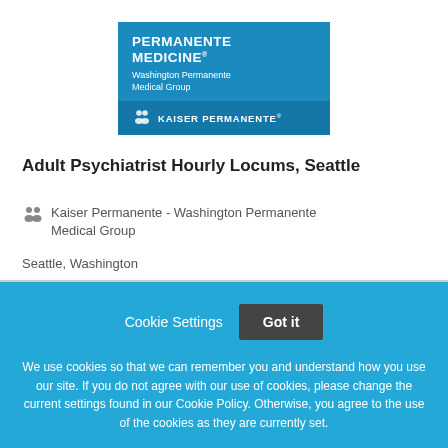[Figure (logo): Permanente Medicine / Washington Permanente Medical Group logo with Kaiser Permanente branding, blue box]
Adult Psychiatrist Hourly Locums, Seattle
Kaiser Permanente - Washington Permanente Medical Group
Seattle, Washington
Cookie Settings  Got it
We use cookies so that we can remember you and understand how you use our site. If you do not agree with our use of cookies, please change the current settings found in our Cookie Policy. Otherwise, you agree to the use of the cookies as they are currently set.